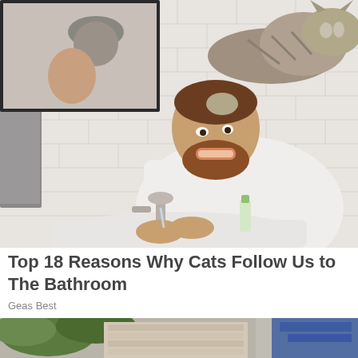[Figure (photo): A smiling bearded man washing his hands at a white-tiled bathroom sink while a grey tabby cat stands on his shoulders/head, reaching down toward him. A mirror and grey towel are visible in the background.]
Top 18 Reasons Why Cats Follow Us to The Bathroom
Geas Best
[Figure (photo): Partial view of an outdoor scene showing a house exterior with peeling paint and foliage, partially cut off at page bottom.]